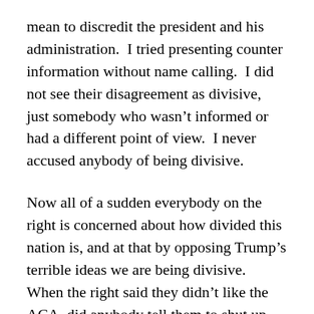mean to discredit the president and his administration.  I tried presenting counter information without name calling.  I did not see their disagreement as divisive, just somebody who wasn't informed or had a different point of view.  I never accused anybody of being divisive.
Now all of a sudden everybody on the right is concerned about how divided this nation is, and at that by opposing Trump's terrible ideas we are being divisive.  When the right said they didn't like the ACA, did anybody tell them to shut up they are being divisive?  That they aren't helping?  To get behind the president?
I am a scientist.  I try to base my opinions based on